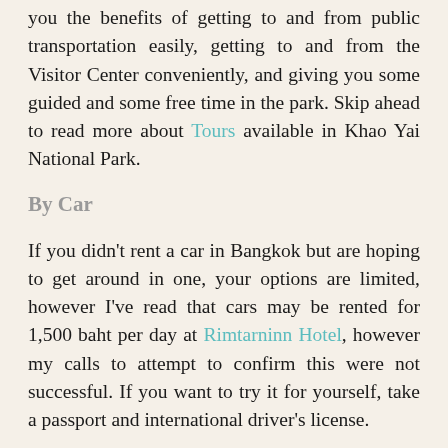you the benefits of getting to and from public transportation easily, getting to and from the Visitor Center conveniently, and giving you some guided and some free time in the park. Skip ahead to read more about Tours available in Khao Yai National Park.
By Car
If you didn't rent a car in Bangkok but are hoping to get around in one, your options are limited, however I've read that cars may be rented for 1,500 baht per day at Rimtarninn Hotel, however my calls to attempt to confirm this were not successful. If you want to try it for yourself, take a passport and international driver's license.